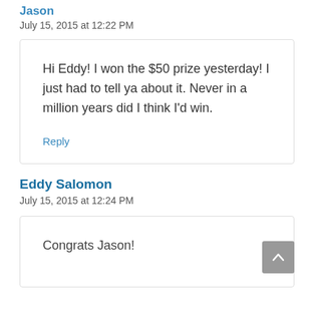Jason
July 15, 2015 at 12:22 PM
Hi Eddy! I won the $50 prize yesterday! I just had to tell ya about it. Never in a million years did I think I'd win.
Reply
Eddy Salomon
July 15, 2015 at 12:24 PM
Congrats Jason!